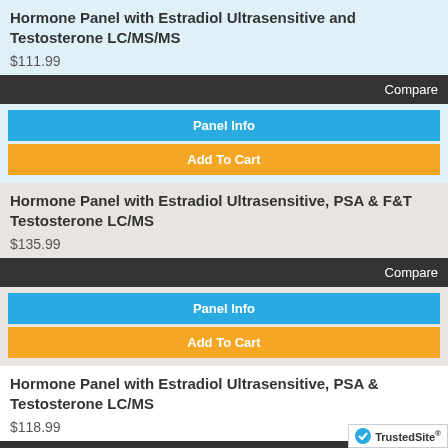Hormone Panel with Estradiol Ultrasensitive and Testosterone LC/MS/MS
$111.99
Compare
Panel Info
Add To Cart
Hormone Panel with Estradiol Ultrasensitive, PSA & F&T Testosterone LC/MS
$135.99
Compare
Panel Info
Add To Cart
Hormone Panel with Estradiol Ultrasensitive, PSA & Testosterone LC/MS
$118.99
Compare